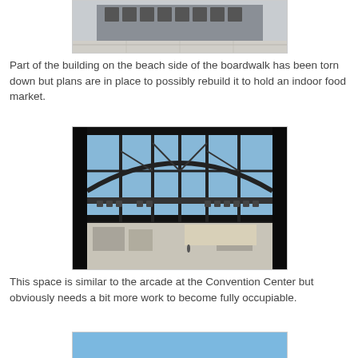[Figure (photo): Exterior photo of a building on the beach side of the boardwalk, showing the facade with arched windows and open plaza area in front.]
Part of the building on the beach side of the boardwalk has been torn down but plans are in place to possibly rebuild it to hold an indoor food market.
[Figure (photo): Interior photo looking out through large arched iron and glass windows of a building arcade, showing the boardwalk and beach beyond.]
This space is similar to the arcade at the Convention Center but obviously needs a bit more work to become fully occupiable.
[Figure (photo): Partial view of a photo showing a blue sky, cut off at the bottom of the page.]